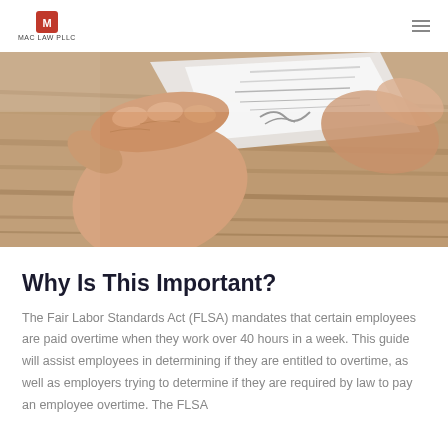MAC LAW PLLC
[Figure (photo): A hand holding and examining a document or envelope on a wooden surface, seen from above.]
Why Is This Important?
The Fair Labor Standards Act (FLSA) mandates that certain employees are paid overtime when they work over 40 hours in a week. This guide will assist employees in determining if they are entitled to overtime, as well as employers trying to determine if they are required by law to pay an employee overtime. The FLSA